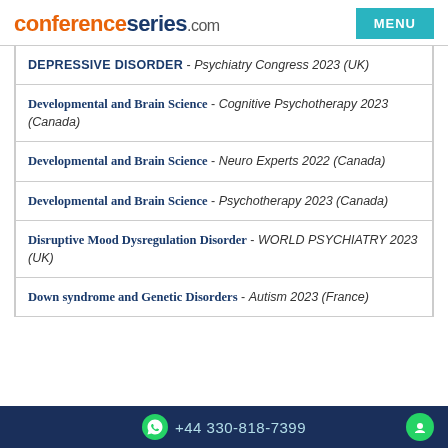conferenceseries.com | MENU
DEPRESSIVE DISORDER - Psychiatry Congress 2023 (UK)
Developmental and Brain Science - Cognitive Psychotherapy 2023 (Canada)
Developmental and Brain Science - Neuro Experts 2022 (Canada)
Developmental and Brain Science - Psychotherapy 2023 (Canada)
Disruptive Mood Dysregulation Disorder - WORLD PSYCHIATRY 2023 (UK)
Down syndrome and Genetic Disorders - Autism 2023 (France)
+44 330-818-7399